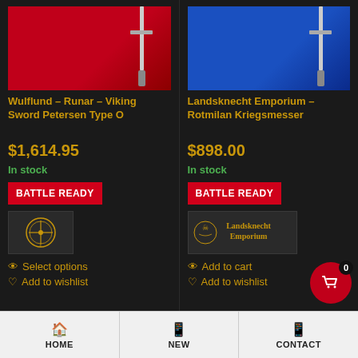[Figure (photo): Product image: Viking sword on red fabric background]
Wulflund – Runar – Viking Sword Petersen Type O
$1,614.95
In stock
BATTLE READY
[Figure (logo): Wulflund brand logo circular emblem]
Select options
Add to wishlist
[Figure (photo): Product image: Kriegsmesser on blue fabric background]
Landsknecht Emporium – Rotmilan Kriegsmesser
$898.00
In stock
BATTLE READY
[Figure (logo): Landsknecht Emporium brand logo with gothic text]
Add to cart
Add to wishlist
HOME | NEW | CONTACT